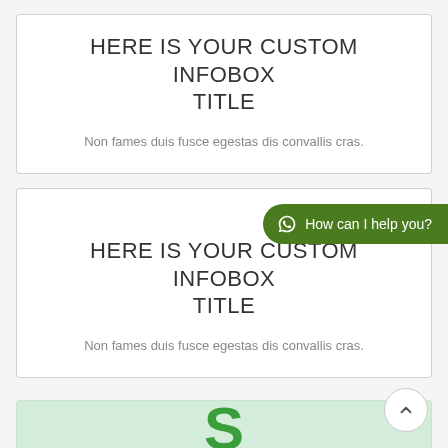HERE IS YOUR CUSTOM INFOBOX TITLE
Non fames duis fusce egestas dis convallis cras.
HERE IS YOUR CUSTOM INFOBOX TITLE
Non fames duis fusce egestas dis convallis cras.
[Figure (other): WhatsApp chat button with text 'How can I help you?' on dark green rounded pill background]
[Figure (other): Partially visible third infobox with light green background and large green letter S]
[Figure (other): Back to top button: circular white button with upward chevron arrow]